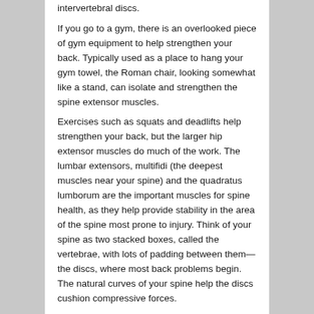intervertebral discs.
If you go to a gym, there is an overlooked piece of gym equipment to help strengthen your back. Typically used as a place to hang your gym towel, the Roman chair, looking somewhat like a stand, can isolate and strengthen the spine extensor muscles.
Exercises such as squats and deadlifts help strengthen your back, but the larger hip extensor muscles do much of the work. The lumbar extensors, multifidi (the deepest muscles near your spine) and the quadratus lumborum are the important muscles for spine health, as they help provide stability in the area of the spine most prone to injury. Think of your spine as two stacked boxes, called the vertebrae, with lots of padding between them—the discs, where most back problems begin. The natural curves of your spine help the discs cushion compressive forces.
Any exercises you do should keep spine stability in mind, and be done with muscle control rather than momentum. Avoid excessive range-of-motion movements that damage spinal ligaments or discs. End-range extension, or forceful hyperextension, places the posterior elements of the